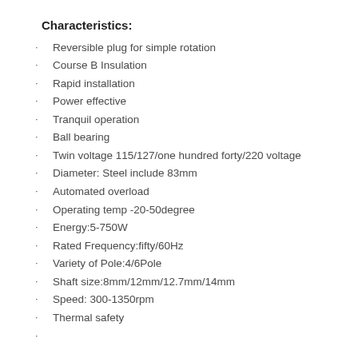Characteristics:
Reversible plug for simple rotation
Course B Insulation
Rapid installation
Power effective
Tranquil operation
Ball bearing
Twin voltage 115/127/one hundred forty/220 voltage
Diameter: Steel include 83mm
Automated overload
Operating temp -20-50degree
Energy:5-750W
Rated Frequency:fifty/60Hz
Variety of Pole:4/6Pole
Shaft size:8mm/12mm/12.7mm/14mm
Speed: 300-1350rpm
Thermal safety